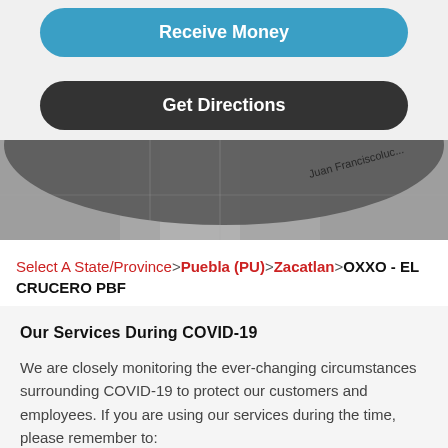[Figure (screenshot): Blue rounded button labeled 'Receive Money']
[Figure (screenshot): Dark rounded button labeled 'Get Directions']
[Figure (map): Partial map screenshot showing street named 'Juan Franciscoluc...' with dark overlay arc]
Select A State/Province > Puebla (PU) > Zacatlan > OXXO - EL CRUCERO PBF
Our Services During COVID-19
We are closely monitoring the ever-changing circumstances surrounding COVID-19 to protect our customers and employees. If you are using our services during the time, please remember to: